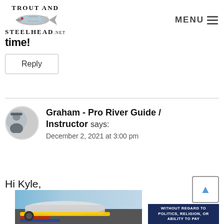TROUT AND STEELHEAD.NET — MENU
time!
Reply
Graham - Pro River Guide / Instructor says:
December 2, 2021 at 3:00 pm
Hi Kyle,
[Figure (photo): Advertisement banner showing cargo aircraft with overlay text WITHOUT REGARD TO POLITICS, RELIGION, OR ABILITY TO PAY]